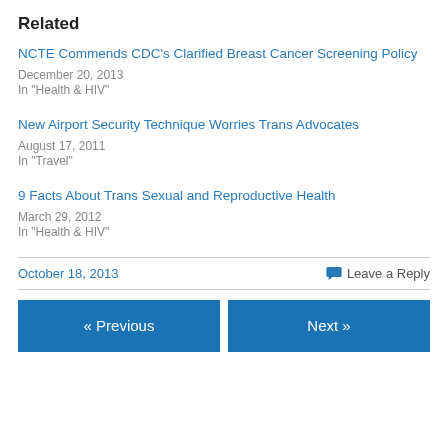Related
NCTE Commends CDC’s Clarified Breast Cancer Screening Policy
December 20, 2013
In "Health & HIV"
New Airport Security Technique Worries Trans Advocates
August 17, 2011
In "Travel"
9 Facts About Trans Sexual and Reproductive Health
March 29, 2012
In "Health & HIV"
October 18, 2013    Leave a Reply
« Previous    Next »